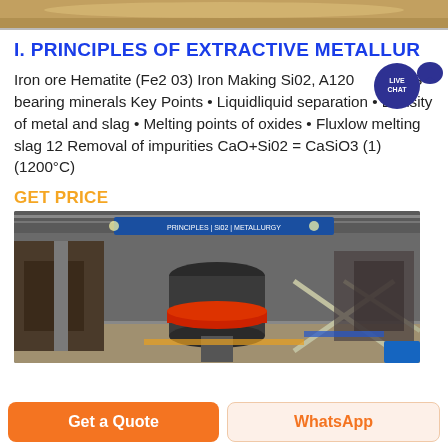[Figure (photo): Top strip showing partial industrial/mineral image]
I. PRINCIPLES OF EXTRACTIVE METALLUR
Iron ore Hematite (Fe2 03) Iron Making Si02, A1203, S bearing minerals Key Points • Liquidliquid separation • Density of metal and slag • Melting points of oxides • Fluxlow melting slag 12 Removal of impurities CaO+Si02 = CaSiO3 (1) (1200°C)
GET PRICE
[Figure (photo): Industrial factory interior showing large cylindrical machinery with red base, steel structure, conveyor systems, and overhead beams in a large warehouse]